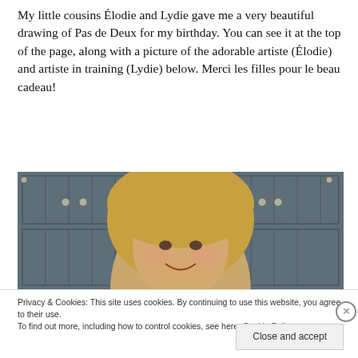My little cousins Élodie and Lydie gave me a very beautiful drawing of Pas de Deux for my birthday. You can see it at the top of the page, along with a picture of the adorable artiste (Élodie) and artiste in training (Lydie) below. Merci les filles pour le beau cadeau!
[Figure (photo): A young girl with curly blonde hair smiling, standing in front of gray cabinet doors with round metallic knobs]
Privacy & Cookies: This site uses cookies. By continuing to use this website, you agree to their use.
To find out more, including how to control cookies, see here: Cookie Policy
Close and accept